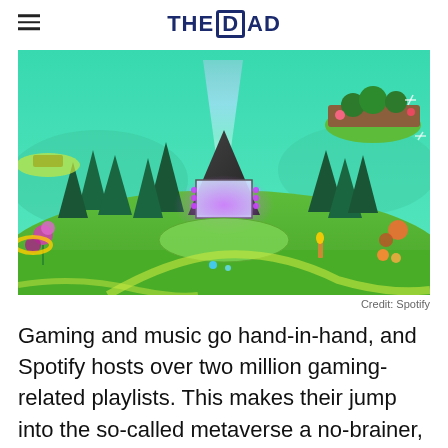THE DAD
[Figure (illustration): Colorful 3D animated virtual world scene with green landscape, glowing pyramid stage with rainbow light beam, trees, flowers, and floating islands - a Spotify metaverse environment]
Credit: Spotify
Gaming and music go hand-in-hand, and Spotify hosts over two million gaming-related playlists. This makes their jump into the so-called metaverse a no-brainer,